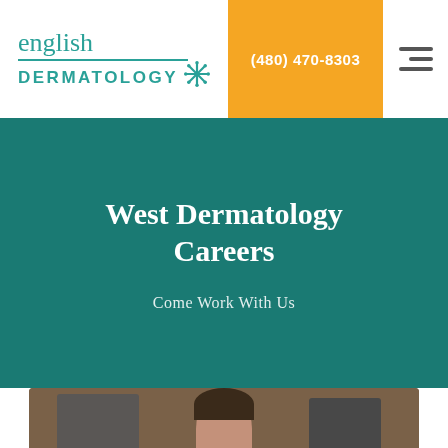[Figure (logo): English Dermatology logo with teal text and asterisk/snowflake symbol]
(480) 470-8303
West Dermatology Careers
Come Work With Us
[Figure (photo): A woman sitting at a desk in a medical office with equipment in the background]